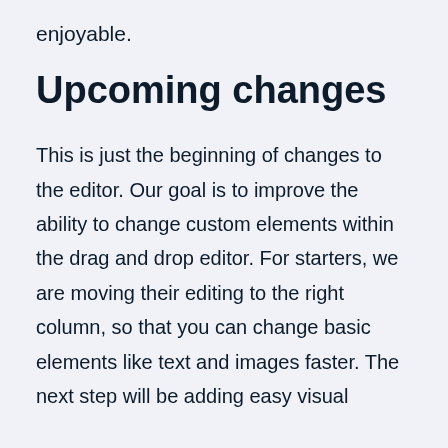enjoyable.
Upcoming changes
This is just the beginning of changes to the editor. Our goal is to improve the ability to change custom elements within the drag and drop editor. For starters, we are moving their editing to the right column, so that you can change basic elements like text and images faster. The next step will be adding easy visual